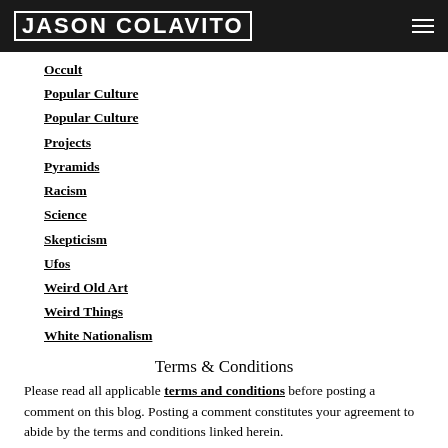JASON COLAVITO
Occult
Popular Culture
Popular Culture
Projects
Pyramids
Racism
Science
Skepticism
Ufos
Weird Old Art
Weird Things
White Nationalism
Terms & Conditions
Please read all applicable terms and conditions before posting a comment on this blog. Posting a comment constitutes your agreement to abide by the terms and conditions linked herein.